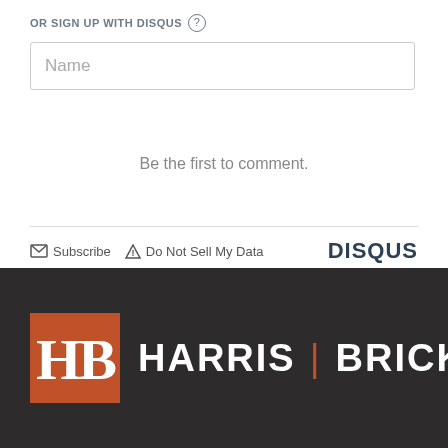OR SIGN UP WITH DISQUS ?
Name
Be the first to comment.
Subscribe  Do Not Sell My Data  DISQUS
[Figure (logo): Harris Bricken law firm logo: orange square with HB monogram in serif font, followed by HARRIS | BRICKEN in white sans-serif text on dark background]